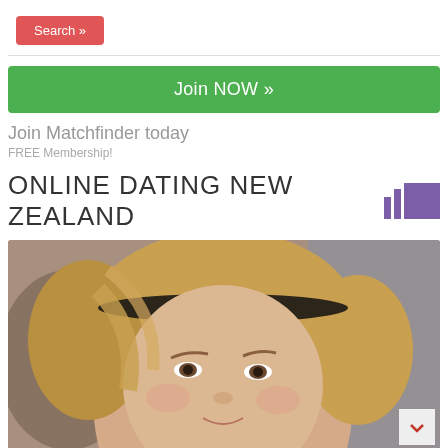[Figure (screenshot): Red 'Search »' button]
[Figure (screenshot): Green 'Join NOW »' button]
Join Matchfinder today
FREE Membership!
ONLINE DATING NEW ZEALAND
[Figure (photo): Close-up photo of a young blonde woman with a headband, looking slightly upward, blurred background]